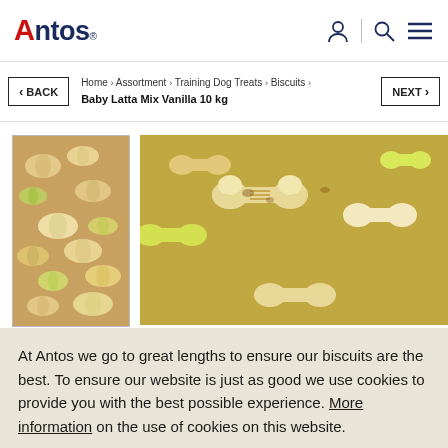Antos® [logo with user icon, search icon, hamburger menu]
< BACK   Home › Assortment › Training Dog Treats › Biscuits › Baby Latta Mix Vanilla 10 kg   NEXT >
[Figure (photo): Thumbnail image of mixed dog biscuits (bone-shaped, yellow and beige colors) — Antos Baby Latta Mix Vanilla]
[Figure (photo): Large close-up image of mixed dog biscuits (bone-shaped, yellow and beige colors) — Antos Baby Latta Mix Vanilla]
At Antos we go to great lengths to ensure our biscuits are the best. To ensure our website is just as good we use cookies to provide you with the best possible experience. More information on the use of cookies on this website.